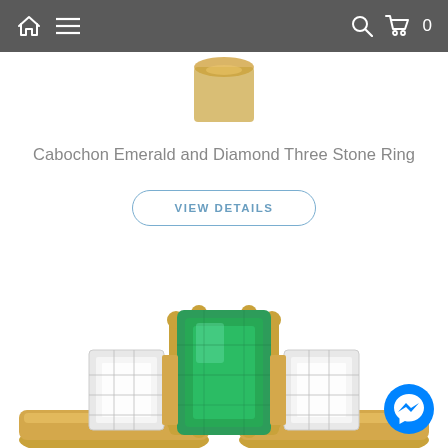Navigation bar with home icon, menu icon, search icon, cart icon showing 0
[Figure (photo): Partial top view of a gold ring with gemstone on white background]
Cabochon Emerald and Diamond Three Stone Ring
VIEW DETAILS
[Figure (photo): Emerald and diamond three stone ring in yellow gold setting with large rectangular emerald center stone flanked by two emerald-cut diamonds]